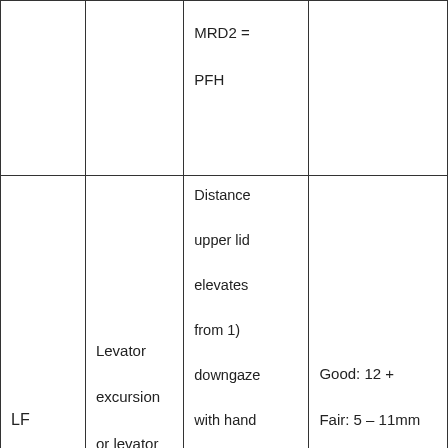|  |  | MRD2 = PFH |  |
| LF | Levator excursion or levator function | Distance upper lid elevates from 1) downgaze with hand on patient's forehead followed by 2) upgaze without | Good: 12 +
Fair: 5 – 11mm
Poor: ≤4mm |